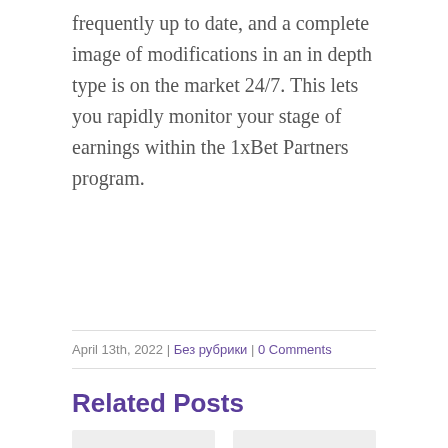frequently up to date, and a complete image of modifications in an in depth type is on the market 24/7. This lets you rapidly monitor your stage of earnings within the 1xBet Partners program.
April 13th, 2022 | Без рубрики | 0 Comments
Related Posts
[Figure (photo): Gray placeholder thumbnail box for related post]
[Figure (photo): Gray placeholder thumbnail box for related post]